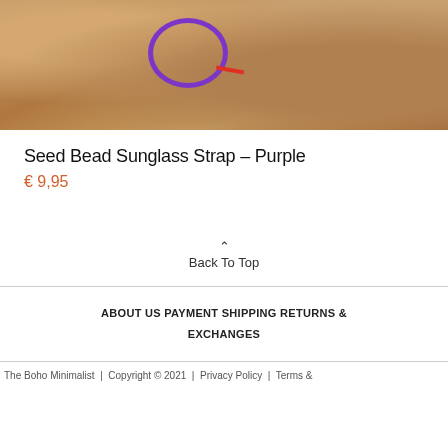[Figure (photo): Product photo showing a purple seed bead sunglass strap / bracelet on a sandy/earthy background]
Seed Bead Sunglass Strap – Purple
€ 9,95
Back To Top
ABOUT US  |  PAYMENT  |  SHIPPING  |  RETURNS & EXCHANGES
The Boho Minimalist  |  Copyright © 2021  |  Privacy Policy  |  Terms &